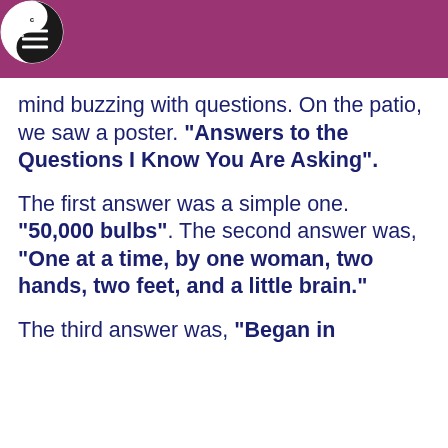CSA logo with hamburger menu
mind buzzing with questions. On the patio, we saw a poster. "Answers to the Questions I Know You Are Asking".
The first answer was a simple one. “50,000 bulbs”. The second answer was, “One at a time, by one woman, two hands, two feet, and a little brain.”
The third answer was, “Began in